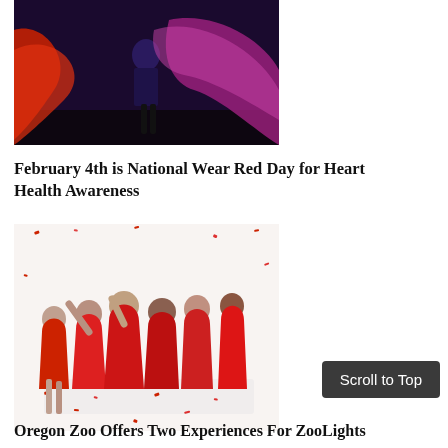[Figure (photo): A performer on stage wearing a colorful costume with flowing red and purple fabric under dramatic stage lighting.]
February 4th is National Wear Red Day for Heart Health Awareness
[Figure (photo): A group of women wearing red dresses posing together with confetti falling around them.]
Scroll to Top
Oregon Zoo Offers Two Experiences For ZooLights